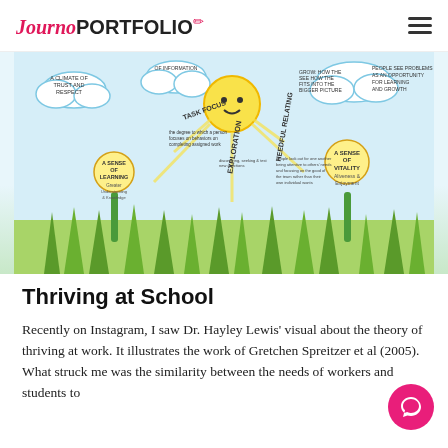JournoPORTFOLIO
[Figure (illustration): A hand-drawn colorful illustration showing flowers with concepts of thriving at work/school. A purple flower labeled 'A Sense of Learning - Greater Understanding & Knowledge', a pink flower labeled 'A Sense of Vitality - Aliveness & Enjoyment', a sun in the center with rays labeled 'Exploration', 'Task Focus', 'Heedful Relating', clouds with text about information and growth, and green grass at the bottom.]
Thriving at School
Recently on Instagram, I saw Dr. Hayley Lewis' visual about the theory of thriving at work. It illustrates the work of Gretchen Spreitzer et al (2005). What struck me was the similarity between the needs of workers and students to